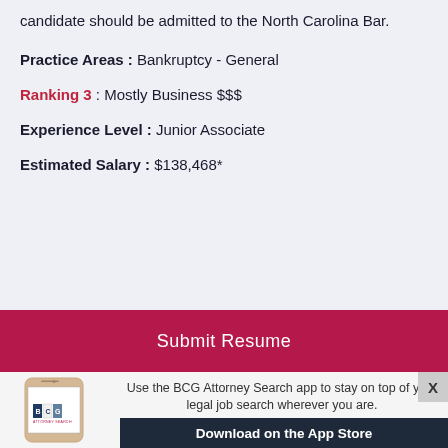candidate should be admitted to the North Carolina Bar.
Practice Areas : Bankruptcy - General
Ranking 3 : Mostly Business $$$
Experience Level : Junior Associate
Estimated Salary : $138,468*
Submit Resume
[Figure (screenshot): BCG Attorney Search mobile app advertisement showing a smartphone with BCG logo, text 'Use the BCG Attorney Search app to stay on top of your legal job search wherever you are.' and 'Download on the App Store' button]